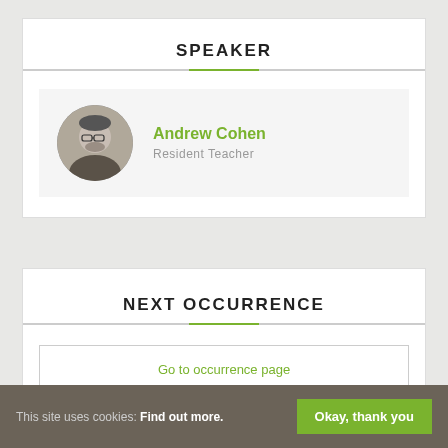SPEAKER
Andrew Cohen
Resident Teacher
NEXT OCCURRENCE
Go to occurrence page
This site uses cookies: Find out more. Okay, thank you